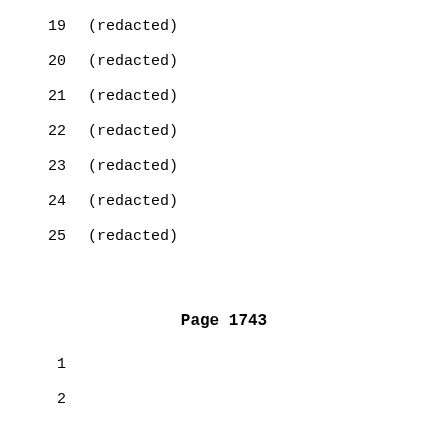19    (redacted)
20    (redacted)
21    (redacted)
22    (redacted)
23    (redacted)
24    (redacted)
25    (redacted)
Page 1743
1
2